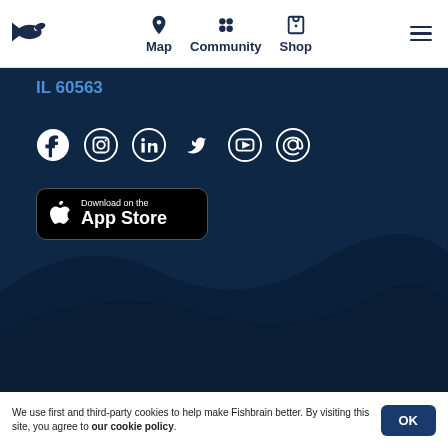Fishbrain - Map, Community, Shop navigation header
IL 60563
[Figure (infographic): Social media icons row: Facebook, Instagram, LinkedIn, Twitter, YouTube, Email]
[Figure (infographic): Download on the App Store button]
We use first and third-party cookies to help make Fishbrain better. By visiting this site, you agree to our cookie policy.